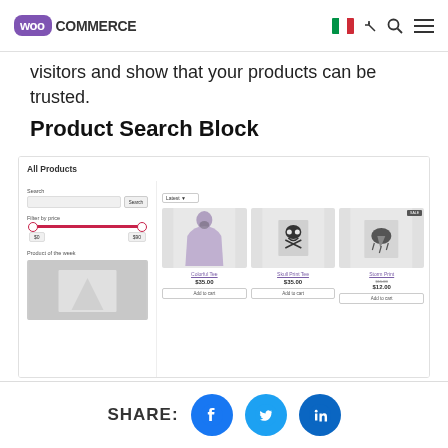WooCommerce
visitors and show that your products can be trusted.
Product Search Block
[Figure (screenshot): WooCommerce Product Search Block screenshot showing All Products page with search bar, filter by price slider, product of the week sidebar, and product grid with three items (Colorful Tee $35.00, Skull Print Tee $35.00, Storm Print on sale $12.00), each with Add to cart buttons.]
SHARE: [Facebook] [Twitter] [LinkedIn]